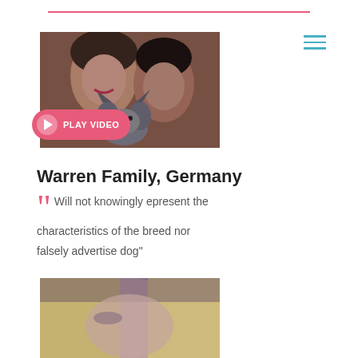[Figure (photo): Couple with dog (French Bulldog) — woman smiling with dark hair, man beside her, brick wall background. Play video button overlay.]
Warren Family, Germany
““ Will not knowingly epresent the characteristics of the breed nor falsely advertise dog”
[Figure (photo): Close-up photo of a blonde woman, slightly blurred.]